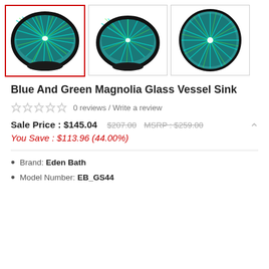[Figure (photo): Three thumbnail images of a blue and green glass vessel sink. First image is selected with a red border. All three show the same decorative glass bowl sink with teal, blue, and green swirling/radiating pattern viewed from different angles.]
Blue And Green Magnolia Glass Vessel Sink
0 reviews / Write a review
Sale Price : $145.04   $207.00   MSRP : $259.00
You Save : $113.96 (44.00%)
Brand: Eden Bath
Model Number: EB_GS44